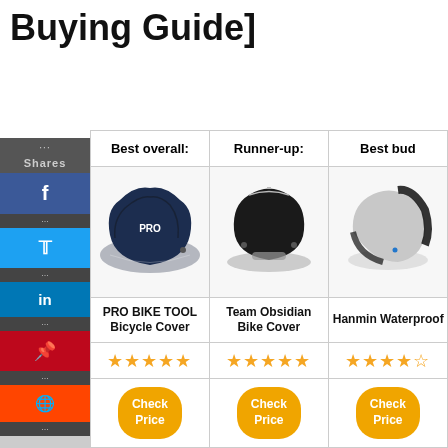Buying Guide]
| Best overall: | Runner-up: | Best bud… |
| --- | --- | --- |
| [bike cover image] | [bike cover image] | [bike cover image] |
| PRO BIKE TOOL Bicycle Cover | Team Obsidian Bike Cover | Hanmin Waterproof Bicycle Cover |
| ★★★★★ | ★★★★★ | ★★★★½ |
| Check Price | Check Price | Check Price |